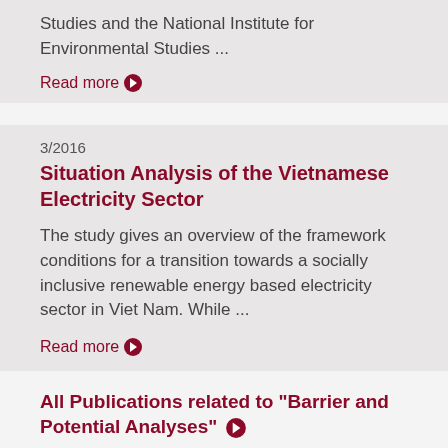Studies and the National Institute for Environmental Studies ...
Read more
3/2016
Situation Analysis of the Vietnamese Electricity Sector
The study gives an overview of the framework conditions for a transition towards a socially inclusive renewable energy based electricity sector in Viet Nam. While ...
Read more
All Publications related to "Barrier and Potential Analyses"